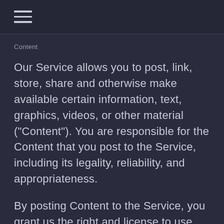≡
Content
Our Service allows you to post, link, store, share and otherwise make available certain information, text, graphics, videos, or other material ("Content"). You are responsible for the Content that you post to the Service, including its legality, reliability, and appropriateness.
By posting Content to the Service, you grant us the right and license to use, modify, publicly perform, publicly display, reproduce and distribute such Content on and through the Service.